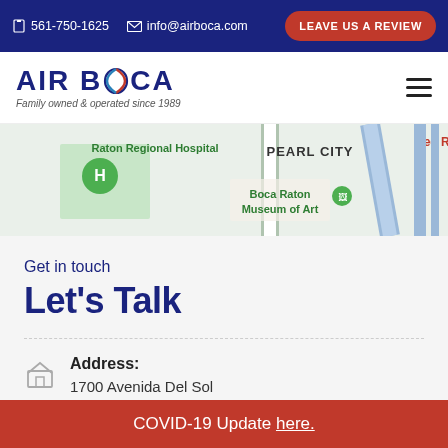561-750-1625  info@airboca.com  LEAVE US A REVIEW
[Figure (logo): Air Boca logo with stylized O containing red and blue swirl. Tagline: Family owned & operated since 1989]
[Figure (map): Google Maps screenshot showing Boca Raton area with Raton Regional Hospital, Pearl City label, Boca Raton Museum of Art marker, and Red Re... text at right edge]
Get in touch
Let's Talk
Address:
1700 Avenida Del Sol
Boca Raton, FL 33432
COVID-19 Update here.